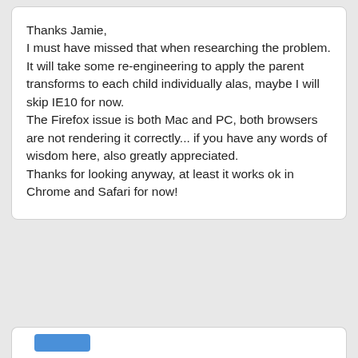Thanks Jamie,
I must have missed that when researching the problem. It will take some re-engineering to apply the parent transforms to each child individually alas, maybe I will skip IE10 for now.
The Firefox issue is both Mac and PC, both browsers are not rendering it correctly... if you have any words of wisdom here, also greatly appreciated.
Thanks for looking anyway, at least it works ok in Chrome and Safari for now!